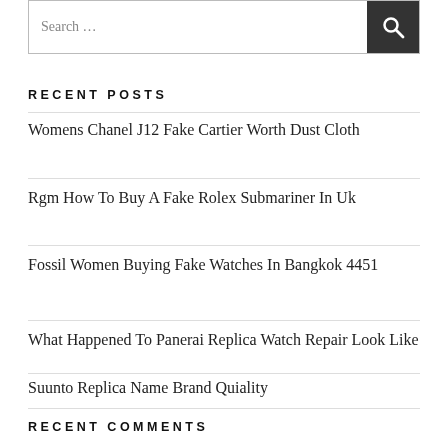[Figure (other): Search bar with text input field and dark search button with magnifying glass icon]
RECENT POSTS
Womens Chanel J12 Fake Cartier Worth Dust Cloth
Rgm How To Buy A Fake Rolex Submariner In Uk
Fossil Women Buying Fake Watches In Bangkok 4451
What Happened To Panerai Replica Watch Repair Look Like
Suunto Replica Name Brand Quiality
RECENT COMMENTS